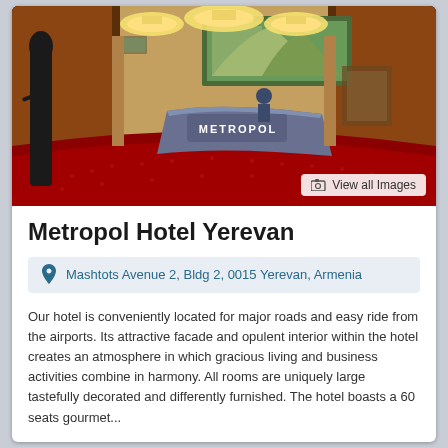[Figure (photo): Interior lobby of Metropol Hotel Yerevan showing red carpet, ornate ceiling with chandeliers, a curved reception desk with METROPOL signage, dark wood paneling, artwork on walls, and a black statue on the left side. Wide-angle fisheye perspective.]
Metropol Hotel Yerevan
Mashtots Avenue 2, Bldg 2, 0015 Yerevan, Armenia
Our hotel is conveniently located for major roads and easy ride from the airports. Its attractive facade and opulent interior within the hotel creates an atmosphere in which gracious living and business activities combine in harmony. All rooms are uniquely large tastefully decorated and differently furnished. The hotel boasts a 60 seats gourmet...
Select Date Range for Pricing & availability